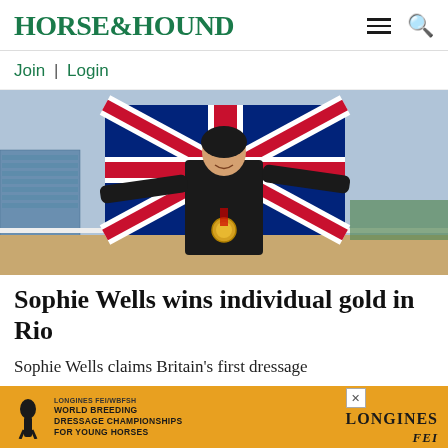HORSE&HOUND
Join | Login
[Figure (photo): Equestrian athlete holding a Union Jack flag behind her back with arms outstretched, wearing a black jacket and gold medal, celebrating at what appears to be the Rio Olympics venue]
Sophie Wells wins individual gold in Rio
Sophie Wells claims Britain's first dressage
[Figure (other): Advertisement banner for Longines FEI/WBFSH World Breeding Dressage Championships for Young Horses, orange background with horse logo on left and LONGINES FEI logos on right]